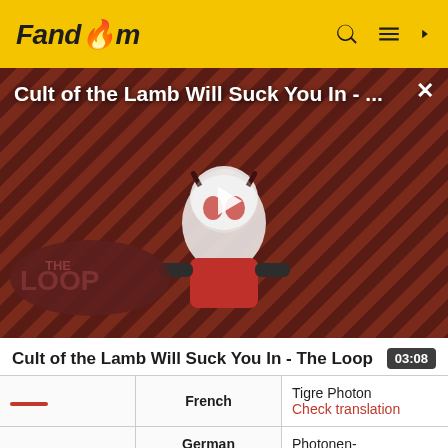Fandom
[Figure (screenshot): Fandom video player showing 'Cult of the Lamb Will Suck You In - ...' with a cartoon lamb character and THE LOOP branding, paused with a play button overlay]
Cult of the Lamb Will Suck You In - The Loop
|  | Language | Translation |
| --- | --- | --- |
|  | French | Tigre Photon
Check translation |
|  | German | Photonen-
Säbelzahntiger |